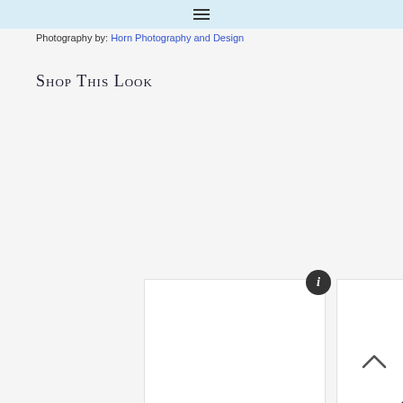Photography by: Horn Photography and Design
Shop This Look
[Figure (screenshot): Two white product image cards side by side with a circular info icon on the first card and a right-arrow navigation button near the second card]
[Figure (other): Up arrow / scroll-to-top icon in bottom right area]